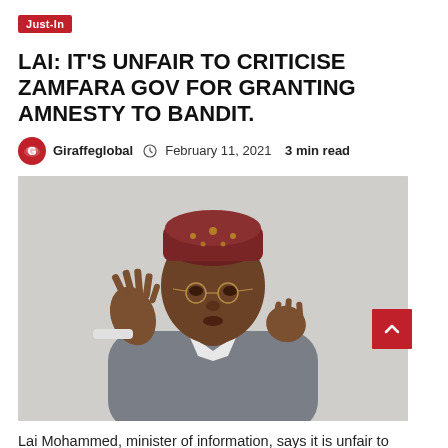Just-In
LAI: IT'S UNFAIR TO CRITICISE ZAMFARA GOV FOR GRANTING AMNESTY TO BANDIT.
Giraffeglobal  February 11, 2021  3 min read
[Figure (photo): Lai Mohammed, Nigerian minister of information, wearing a dark red embroidered cap and grey suit, raising both hands with an expressive gesture while wearing glasses.]
Lai Mohammed, minister of information, says it is unfair to criticise Bello Matawalle, governor of Zamfara, for granting